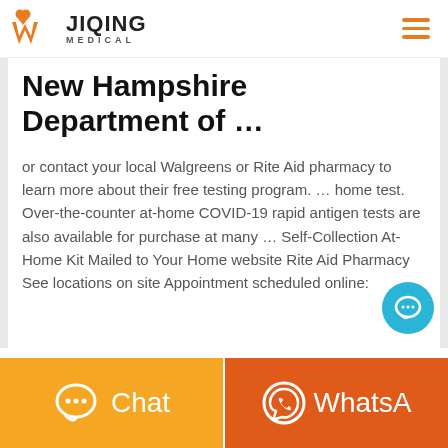JIQING MEDICAL
New Hampshire Department of …
or contact your local Walgreens or Rite Aid pharmacy to learn more about their free testing program. … home test. Over-the-counter at-home COVID-19 rapid antigen tests are also available for purchase at many … Self-Collection At-Home Kit Mailed to Your Home website Rite Aid Pharmacy See locations on site Appointment scheduled online:
[Figure (other): Chat button and WhatsApp button at the bottom of the page]
Chat
WhatsA